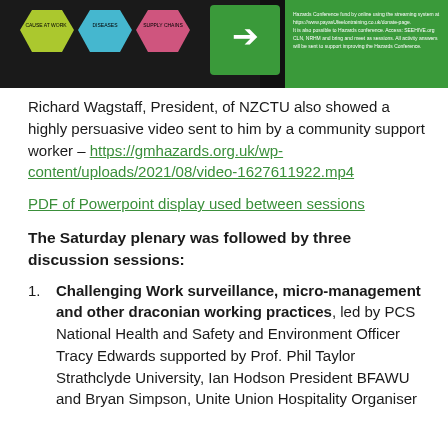[Figure (infographic): Banner image showing hazard conference promotional infographic with hexagonal icons and green arrow, dark background]
Richard Wagstaff, President, of NZCTU also showed a highly persuasive video sent to him by a community support worker – https://gmhazards.org.uk/wp-content/uploads/2021/08/video-1627611922.mp4
PDF of Powerpoint display used between sessions
The Saturday plenary was followed by three discussion sessions:
Challenging Work surveillance, micro-management and other draconian working practices, led by PCS National Health and Safety and Environment Officer Tracy Edwards supported by Prof. Phil Taylor Strathclyde University, Ian Hodson President BFAWU and Bryan Simpson, Unite Union Hospitality Organiser